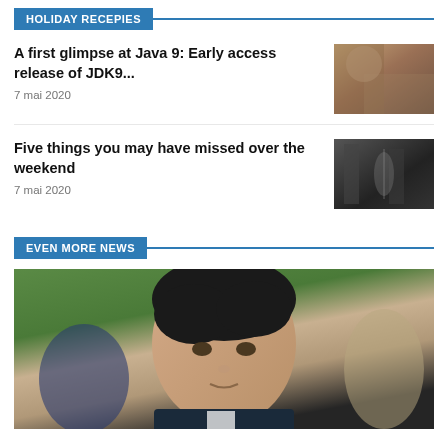HOLIDAY RECEPIES
A first glimpse at Java 9: Early access release of JDK9...
7 mai 2020
[Figure (photo): Photo thumbnail for Java 9 article]
Five things you may have missed over the weekend
7 mai 2020
[Figure (photo): Photo thumbnail of guitarist on stage]
EVEN MORE NEWS
[Figure (photo): Large photo of a man at an outdoor event, looking downward]